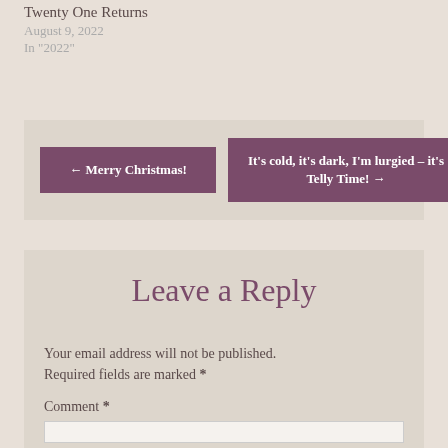Twenty One Returns
August 9, 2022
In "2022"
← Merry Christmas!
It's cold, it's dark, I'm lurgied – it's Telly Time! →
Leave a Reply
Your email address will not be published. Required fields are marked *
Comment *